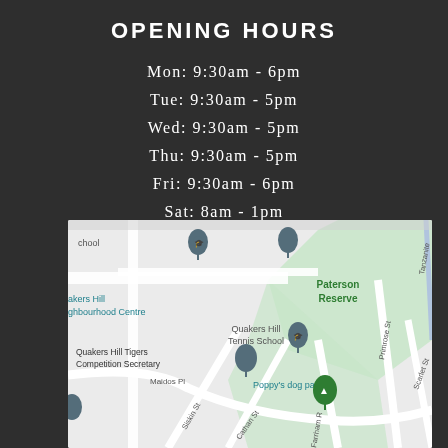OPENING HOURS
Mon: 9:30am - 6pm
Tue: 9:30am - 5pm
Wed: 9:30am - 5pm
Thu: 9:30am - 5pm
Fri: 9:30am - 6pm
Sat: 8am - 1pm
[Figure (map): Google Maps screenshot showing the area around Quakers Hill, including Paterson Reserve (green area), Quakers Hill Tennis School, Poppy's dog park, Quakers Hill Tigers Competition Secretary, Maidos Pl, Siskin St, Cathan St, Farrham R, Primrose St, Scarlet St, Tanzanite St]